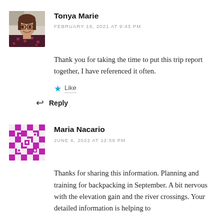[Figure (photo): Avatar photo of Tonya Marie, a woman smiling, light background]
Tonya Marie
FEBRUARY 18, 2021 AT 9:43 PM
Thank you for taking the time to put this trip report together, I have referenced it often.
★ Like
↩ Reply
[Figure (illustration): Avatar image for Maria Nacario, a geometric/mosaic pattern in magenta and white]
Maria Nacario
JUNE 6, 2022 AT 12:58 PM
Thanks for sharing this information. Planning and training for backpacking in September. A bit nervous with the elevation gain and the river crossings. Your detailed information is helping to